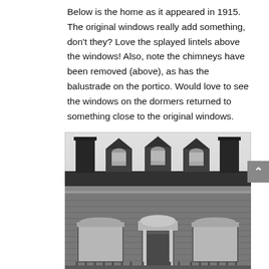Below is the home as it appeared in 1915. The original windows really add something, don't they? Love the splayed lintels above the windows! Also, note the chimneys have been removed (above), as has the balustrade on the portico. Would love to see the windows on the dormers returned to something close to the original windows.
[Figure (photo): Black and white photograph from 1915 showing the upper facade of a brick building with three dormer windows with pointed Gothic-style gabled tops and arched windows, two large chimneys on either side, decorative cornice, and lower floor windows with an ornate entrance doorway with columns.]